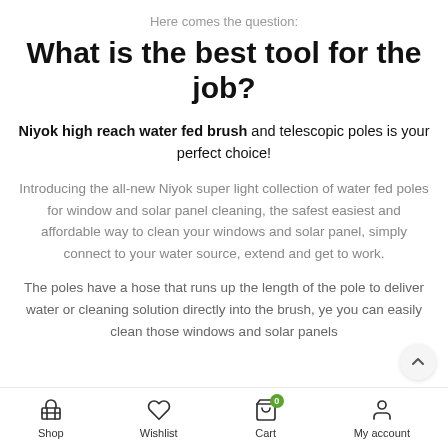Here comes the question:
What is the best tool for the job?
Niyok high reach water fed brush and telescopic poles is your perfect choice!
Introducing the all-new Niyok super light collection of water fed poles for window and solar panel cleaning, the safest easiest and affordable way to clean your windows and solar panel, simply connect to your water source, extend and get to work.
The poles have a hose that runs up the length of the pole to deliver water or cleaning solution directly into the brush, ye you can easily clean those windows and solar panels
Shop | Wishlist | Cart | My account